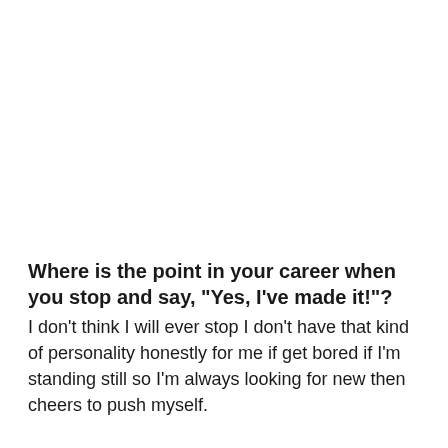Where is the point in your career when you stop and say, "Yes, I've made it!"?
I don't think I will ever stop I don't have that kind of personality honestly for me if get bored if I'm standing still so I'm always looking for new then cheers to push myself.